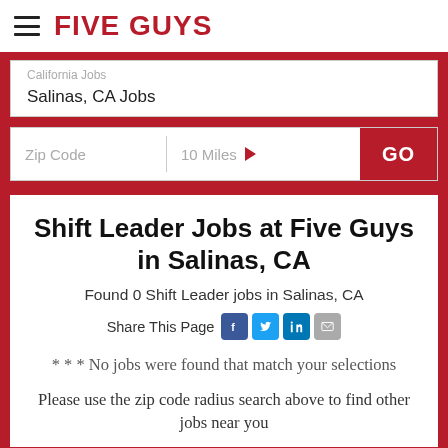FIVE GUYS
California Jobs
Salinas, CA Jobs
Zip Code   10 Miles   GO
Shift Leader Jobs at Five Guys in Salinas, CA
Found 0 Shift Leader jobs in Salinas, CA
Share This Page
* * * No jobs were found that match your selections
Please use the zip code radius search above to find other jobs near you